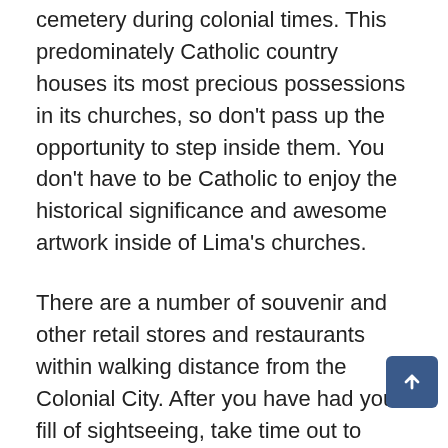cemetery during colonial times. This predominately Catholic country houses its most precious possessions in its churches, so don't pass up the opportunity to step inside them. You don't have to be Catholic to enjoy the historical significance and awesome artwork inside of Lima's churches.
There are a number of souvenir and other retail stores and restaurants within walking distance from the Colonial City. After you have had your fill of sightseeing, take time out to shop at some local stores for a unique gift for someone back home or take time for a snack, Try the locals favorite the empanada.
In contrast to the old city, Lima has a modern underground shopping center. A visit to Larcomar Shopping Center is a must. The underground mall is